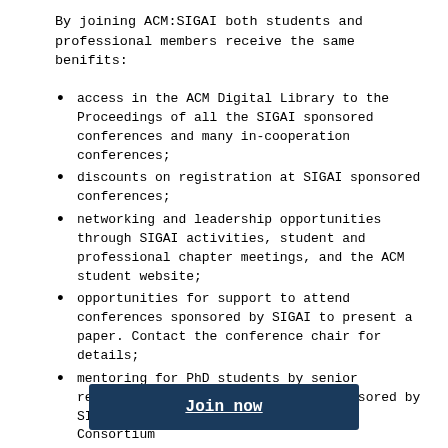By joining ACM:SIGAI both students and professional members receive the same benifits:
access in the ACM Digital Library to the Proceedings of all the SIGAI sponsored conferences and many in-cooperation conferences;
discounts on registration at SIGAI sponsored conferences;
networking and leadership opportunities through SIGAI activities, student and professional chapter meetings, and the ACM student website;
opportunities for support to attend conferences sponsored by SIGAI to present a paper. Contact the conference chair for details;
mentoring for PhD students by senior researchers at some conferences sponsored by SIGAI and at the AAAI/SIGAI Doctoral Consortium
Join now